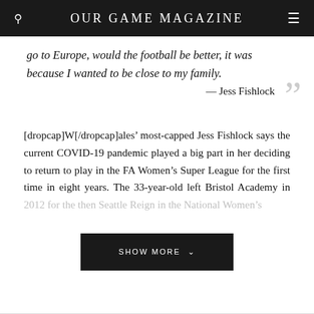OUR GAME MAGAZINE
go to Europe, would the football be better, it was because I wanted to be close to my family.
— Jess Fishlock
[dropcap]W[/dropcap]ales' most-capped Jess Fishlock says the current COVID-19 pandemic played a big part in her deciding to return to play in the FA Women's Super League for the first time in eight years. The 33-year-old left Bristol Academy in 2012 for the then Seattle Reign in the National Women's
SHOW MORE